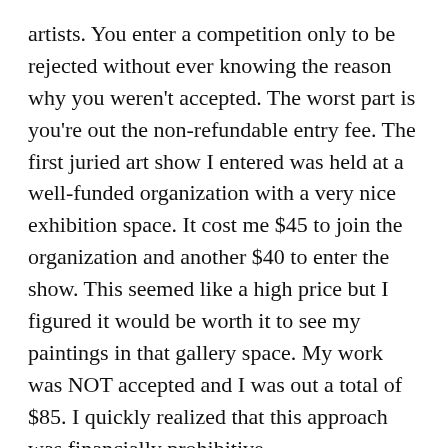artists. You enter a competition only to be rejected without ever knowing the reason why you weren't accepted. The worst part is you're out the non-refundable entry fee. The first juried art show I entered was held at a well-funded organization with a very nice exhibition space. It cost me $45 to join the organization and another $40 to enter the show. This seemed like a high price but I figured it would be worth it to see my paintings in that gallery space. My work was NOT accepted and I was out a total of $85. I quickly realized that this approach was financially prohibitive.
Based on this experience, I changed my strategy and began entering only juried shows that are FREE. I'm willing to make an exception and pay a membership